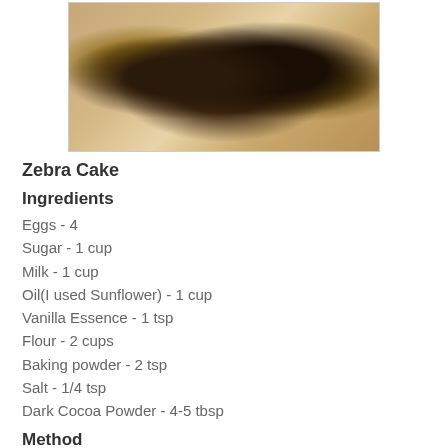[Figure (photo): Cross-section of a zebra cake showing swirled dark and light layers on a white plate]
Zebra Cake
Ingredients
Eggs - 4
Sugar - 1 cup
Milk - 1 cup
Oil(I used Sunflower) - 1 cup
Vanilla Essence - 1 tsp
Flour - 2 cups
Baking powder - 2 tsp
Salt - 1/4 tsp
Dark Cocoa Powder - 4-5 tbsp
Method
In a large mixing bowl, combine eggs and sugar until creamy and light in colour.